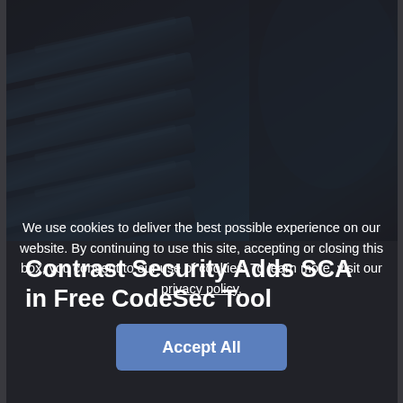[Figure (photo): Close-up photo of metallic gear or turbine blades with dark blue tones]
Contrast Security Adds SCA in Free CodeSec Tool
[Figure (screenshot): POPULAR sidebar tab (vertical text) with green strip partially visible]
We use cookies to deliver the best possible experience on our website. By continuing to use this site, accepting or closing this box, you consent to our use of cookies. To learn more, visit our privacy policy.
Accept All